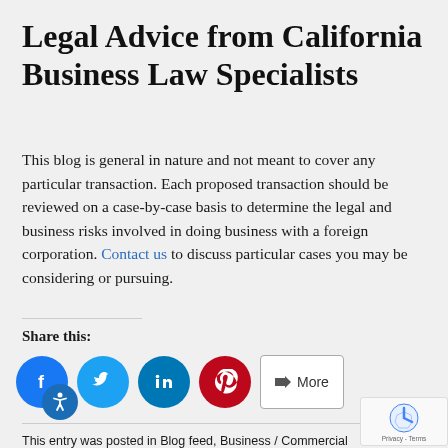Legal Advice from California Business Law Specialists
This blog is general in nature and not meant to cover any particular transaction. Each proposed transaction should be reviewed on a case-by-case basis to determine the legal and business risks involved in doing business with a foreign corporation. Contact us to discuss particular cases you may be considering or pursuing.
Share this:
[Figure (infographic): Social share buttons: Facebook (blue circle), Twitter (blue circle), LinkedIn (blue circle), Pinterest (red circle), and a More button]
This entry was posted in Blog feed, Business / Commercial Law, General Information and tagged California business law, California judgment representation, granting open credit approvals, pursuing judgment state on October 25, 2018 by Poniatowski Leding Parikh Law Company.